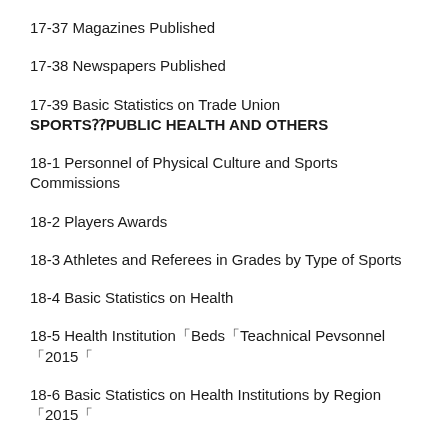17-37 Magazines Published
17-38 Newspapers Published
17-39 Basic Statistics on Trade Union
SPORTS⁇PUBLIC HEALTH AND OTHERS
18-1 Personnel of Physical Culture and Sports Commissions
18-2 Players Awards
18-3 Athletes and Referees in Grades by Type of Sports
18-4 Basic Statistics on Health
18-5 Health Institution「Beds「Teachnical Pevsonnel「2015「
18-6 Basic Statistics on Health Institutions by Region「2015「